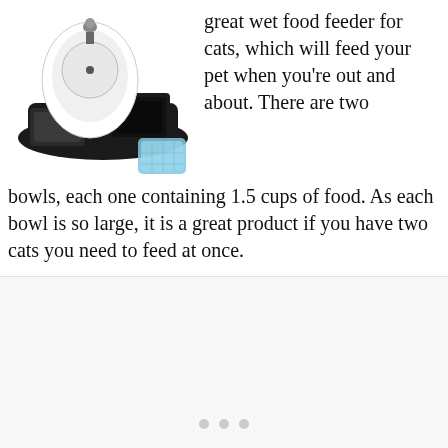[Figure (photo): Photo of an automatic pet feeder with two black trays, white oval timer unit, and a blue ice pack accessory]
great wet food feeder for cats, which will feed your pet when you're out and about. There are two bowls, each one containing 1.5 cups of food. As each bowl is so large, it is a great product if you have two cats you need to feed at once.